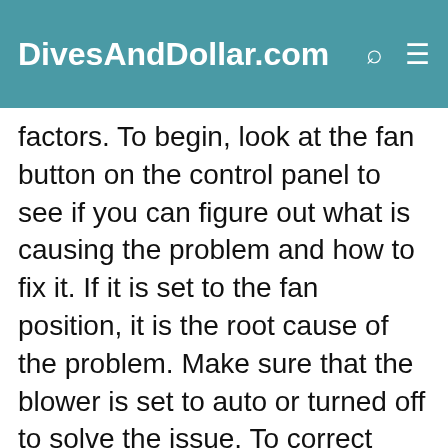DivesAndDollar.com
factors. To begin, look at the fan button on the control panel to see if you can figure out what is causing the problem and how to fix it. If it is set to the fan position, it is the root cause of the problem. Make sure that the blower is set to auto or turned off to solve the issue. To correct this, you should consult with a professional in air conditioning repair near you, or see further troubleshooting guides in the system's handbook to ensure you're using the correct quantity of